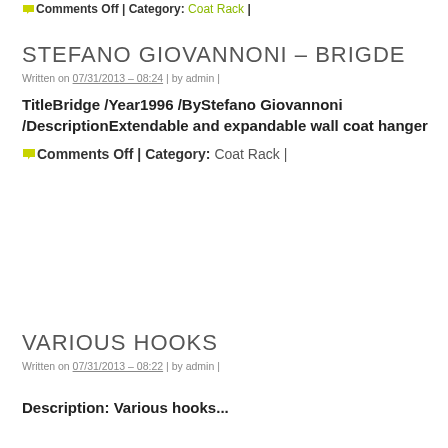Comments Off | Category: Coat Rack |
STEFANO GIOVANNONI – BRIGDE
Written on 07/31/2013 – 08:24 | by admin |
TitleBridge /Year1996 /ByStefano Giovannoni /DescriptionExtendable and expandable wall coat hanger
Comments Off | Category: Coat Rack |
VARIOUS HOOKS
Written on 07/31/2013 – 08:22 | by admin |
Description: Various hooks...